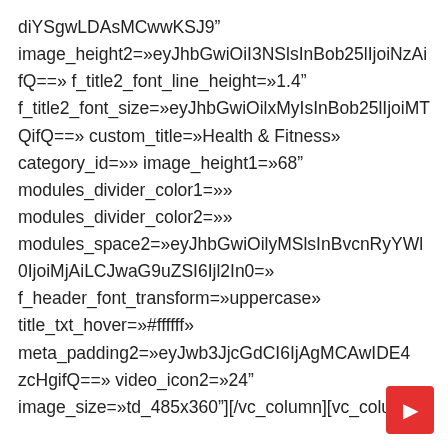diYSgwLDAsMCwwKSJ9"
image_height2=»eyJhbGwiOiI3NSlsInBob25lIjoiNzAifQ==» f_title2_font_line_height=»1.4"
f_title2_font_size=»eyJhbGwiOilxMyIsInBob25lIjoiMTQifQ==» custom_title=»Health & Fitness»
category_id=»» image_height1=»68"
modules_divider_color1=»»
modules_divider_color2=»»
modules_space2=»eyJhbGwiOilyMSlsInBvcnRyYWl0IjoiMjAiLCJwaG9uZSI6Ijl2In0=»
f_header_font_transform=»uppercase»
title_txt_hover=»#ffffff»
meta_padding2=»eyJwb3JjcGdCI6IjAgMCAwIDE4zcHgifQ==» video_icon2=»24"
image_size=»td_485x360"][/vc_column][vc_column